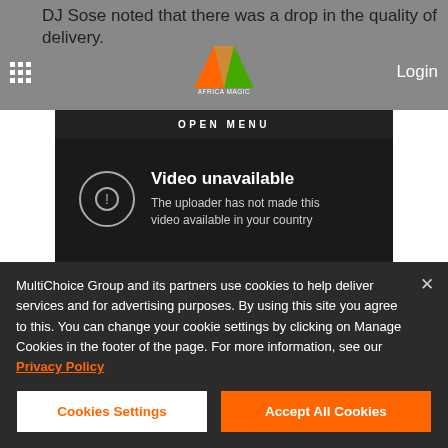DJ Sose noted that there was a drop in the quality of delivery.
[Figure (logo): Africa Magic logo with orange and green M shape]
Login
OPEN MENU
[Figure (screenshot): YouTube embedded video player showing Video unavailable error: The uploader has not made this video available in your country]
MultiChoice Group and its partners use cookies to help deliver services and for advertising purposes. By using this site you agree to this. You can change your cookie settings by clicking on Manage Cookies in the footer of the page. For more information, see our Privacy Policy
Cookies Settings
Accept All Cookies